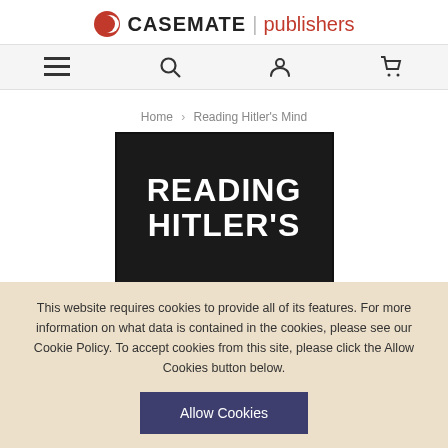[Figure (logo): Casemate Publishers logo with red crescent moon icon, bold CASEMATE text, divider, and red 'publishers' text]
[Figure (screenshot): Navigation bar with menu hamburger icon, search icon, user account icon, and shopping cart icon on light grey background]
Home > Reading Hitler's Mind
[Figure (photo): Book cover showing 'READING HITLER'S' in large white bold text on dark background]
This website requires cookies to provide all of its features. For more information on what data is contained in the cookies, please see our Cookie Policy. To accept cookies from this site, please click the Allow Cookies button below.
Allow Cookies